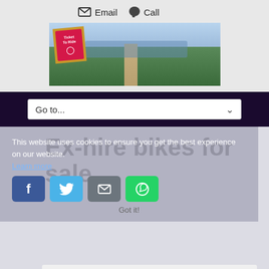Email  Call
[Figure (photo): Ticket To Ride branded hero image showing a cyclist on a path beside a lake with green hills and cloudy sky in the background]
Go to...
Ex-hire bikes for sale
This website uses cookies to ensure you get the best experience on our website.
Learn more
Got it!
Bikes shown below are the 2020 bikes that we have left for sale now (spring 2022) and there are only one or two left of each type. There is a "waiting list" though so us if you'd like to be